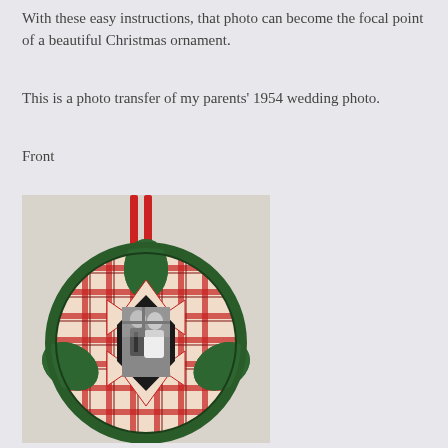With these easy instructions, that photo can become the focal point of a beautiful Christmas ornament.
This is a photo transfer of my parents' 1954 wedding photo.
Front
[Figure (photo): A quilted Christmas ornament with red ribbon hanger, featuring a black-and-white photo transfer of a 1954 wedding couple in the center, surrounded by red and green plaid fabric folded in a decorative pattern with dark green border.]